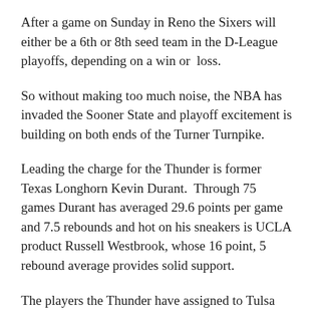After a game on Sunday in Reno the Sixers will either be a 6th or 8th seed team in the D-League playoffs, depending on a win or  loss.
So without making too much noise, the NBA has invaded the Sooner State and playoff excitement is building on both ends of the Turner Turnpike.
Leading the charge for the Thunder is former Texas Longhorn Kevin Durant.  Through 75 games Durant has averaged 29.6 points per game and 7.5 rebounds and hot on his sneakers is UCLA product Russell Westbrook, whose 16 point, 5 rebound average provides solid support.
The players the Thunder have assigned to Tulsa have included D.J. White, Byron Mullens and Kyle Weaver and all three players have performed excellently in the show, and their performance has carried over to the 66ers overall success.